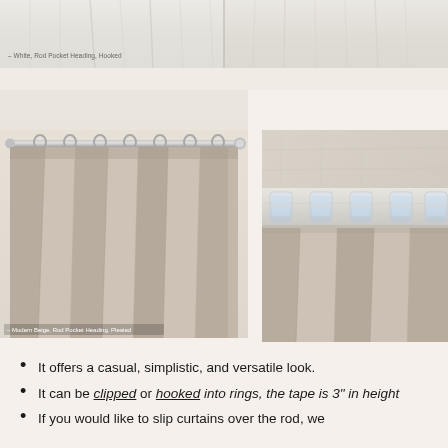[Figure (photo): Top strip photo of white sheer curtain with rod pocket heading, partially visible]
– White, Rod Pocket Heading, Hooked
[Figure (photo): Left photo showing modern beige curtain panel with rod pocket heading, pleated, hanging on a metal rod with rings]
– Modern Beige, Rod Pocket Heading, Pleated
[Figure (photo): Right photo showing close-up of beige curtain pleater tape heading with clear plastic hooks attached]
It offers a casual, simplistic, and versatile look.
It can be clipped or hooked into rings, the tape is 3" in height
If you would like to slip curtains over the rod, we